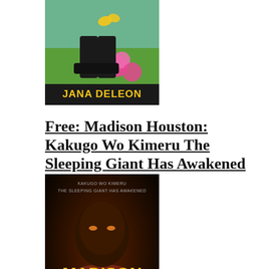[Figure (illustration): Book cover for a Jana DeLeon novel showing boots and flowers with 'JANA DELEON' text at bottom]
Free: Madison Houston: Kakugo Wo Kimeru The Sleeping Giant Has Awakened
[Figure (illustration): Book cover for Madison Houston by Bonnie Deaton showing a dramatic warrior face with fire and the title in yellow]
Free: Exercise Is Murder
[Figure (illustration): Book cover for Exercise Is Murder by Bruce showing bold text and a swimmer in blue water with red background]